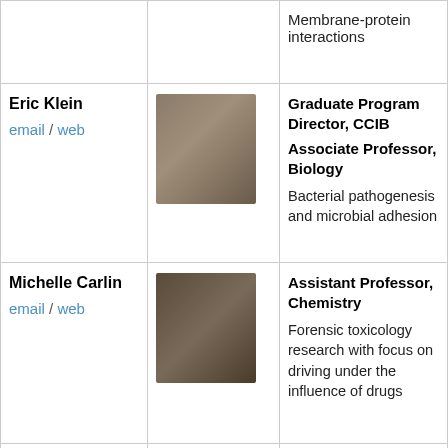| Name / Links | Photo | Title / Research |
| --- | --- | --- |
|  |  | Membrane-protein interactions |
| Eric Klein
email / web | [photo] | Graduate Program Director, CCIB
Associate Professor, Biology
Bacterial pathogenesis and microbial adhesion |
| Michelle Carlin
email / web | [photo] | Assistant Professor, Chemistry
Forensic toxicology research with focus on driving under the influence of drugs |
| Iman Dehzangi | [photo] | Assistant Professor, Computer Science
Machine learning, deep learning, |